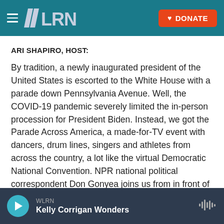WLRN — navigation bar with hamburger menu, WLRN logo, and DONATE button
ARI SHAPIRO, HOST:
By tradition, a newly inaugurated president of the United States is escorted to the White House with a parade down Pennsylvania Avenue. Well, the COVID-19 pandemic severely limited the in-person procession for President Biden. Instead, we got the Parade Across America, a made-for-TV event with dancers, drum lines, singers and athletes from across the country, a lot like the virtual Democratic National Convention. NPR national political correspondent Don Gonyea joins us from in front of
WLRN | Kelly Corrigan Wonders — audio player